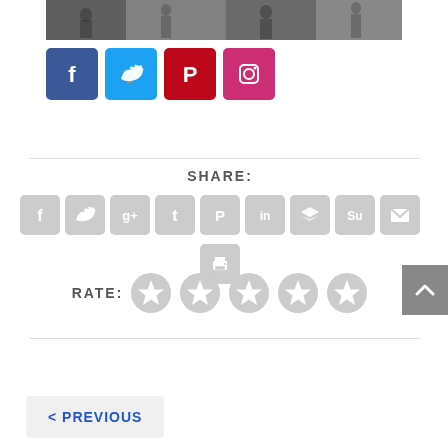[Figure (photo): Partial photo strip of people in an outdoor urban setting]
[Figure (infographic): Social media share buttons: Facebook (blue), Twitter (light blue), Pinterest (red), Instagram (pink)]
[Figure (infographic): Share section with SHARE: label and 9 grey social/share icon buttons (Facebook, Twitter, Google+, Tumblr, Pinterest, LinkedIn, Buffer, StumbleUpon, Email) plus a print icon below]
[Figure (infographic): RATE: label with 5 grey star rating icons]
< PREVIOUS